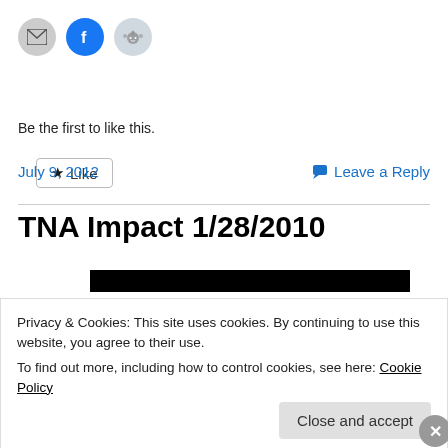[Figure (illustration): Row of social sharing icon circles: email (grey), Facebook (blue), Reddit (light grey)]
[Figure (illustration): Like button with star icon, styled as a bordered button]
Be the first to like this.
July 9, 2012
Leave a Reply
TNA Impact 1/28/2010
[Figure (photo): Redacted black horizontal bar (image preview)]
Privacy & Cookies: This site uses cookies. By continuing to use this website, you agree to their use.
To find out more, including how to control cookies, see here: Cookie Policy
Close and accept
Advertisements